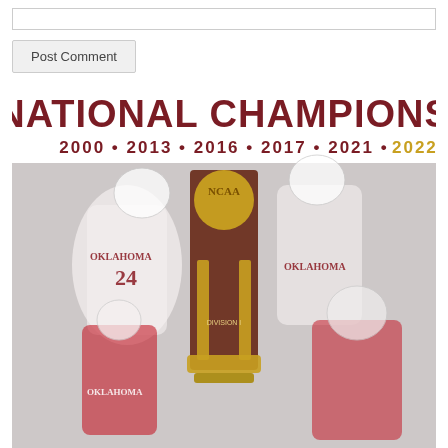[Figure (other): Text input box (comment field) at top of page]
Post Comment
[Figure (photo): Oklahoma Sooners softball National Champions promotional image. Text reads 'NATIONAL CHAMPIONS 2000 • 2013 • 2016 • 2017 • 2021 • 2022' with players in Oklahoma uniforms and an NCAA championship trophy in the center.]